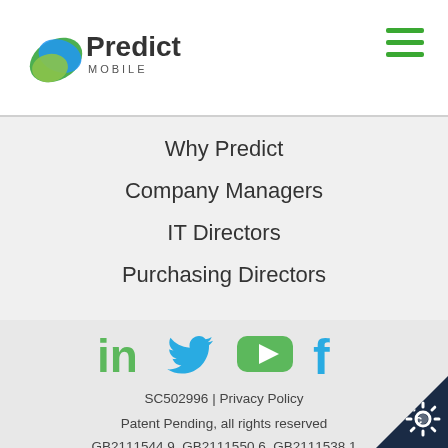[Figure (logo): Predict Mobile logo with green/teal leaf icon and hamburger menu in top right]
Why Predict
Company Managers
IT Directors
Purchasing Directors
[Figure (illustration): Social media icons: LinkedIn (green), Twitter (blue), YouTube (green), Facebook (blue)]
SC502996 | Privacy Policy
Patent Pending, all rights reserved
GB2111544.9, GB2111550.6, GB2111538.1
Web Development by: Purple Imp